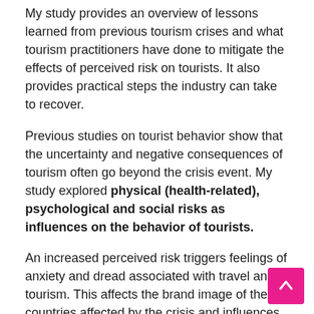My study provides an overview of lessons learned from previous tourism crises and what tourism practitioners have done to mitigate the effects of perceived risk on tourists. It also provides practical steps the industry can take to recover.
Previous studies on tourist behavior show that the uncertainty and negative consequences of tourism often go beyond the crisis event. My study explored physical (health-related), psychological and social risks as influences on the behavior of tourists.
An increased perceived risk triggers feelings of anxiety and dread associated with travel and tourism. This affects the brand image of the countries affected by the crisis and influences the decision-making of tourists. As a result, tourists delay their trips and change their choice of destination. In some cases, they cancel their planned tourist activity.
For example, following the SARS epidemic in 2003, some Asian countries such as China and Singapore suffered significant